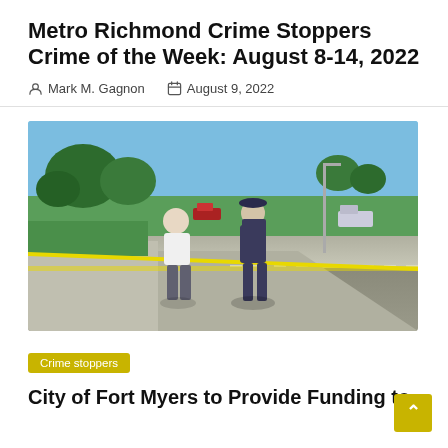Metro Richmond Crime Stoppers Crime of the Week: August 8-14, 2022
Mark M. Gagnon   August 9, 2022
[Figure (photo): Crime scene photo showing two men — one in a white shirt and grey trousers, another in a police uniform — standing near yellow crime scene tape on a road. Green grass, trees, and a road stretch into the background under a blue sky.]
Crime stoppers
City of Fort Myers to Provide Funding to